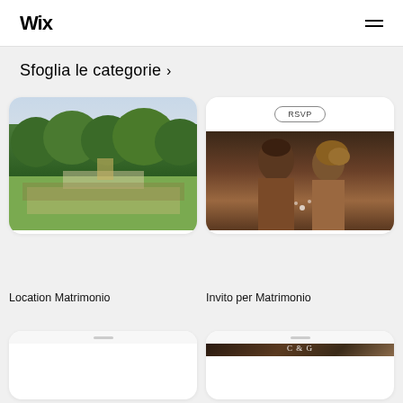Wix
Sfoglia le categorie >
[Figure (photo): Outdoor garden wedding ceremony with rows of white chairs and guests, lush green trees in background]
[Figure (photo): Couple smiling together holding sparklers, RSVP button shown above]
Location Matrimonio
Invito per Matrimonio
[Figure (screenshot): Partial card with gray image, bottom row]
[Figure (screenshot): Partial card with dark couple photo and cursive text overlay, bottom row]